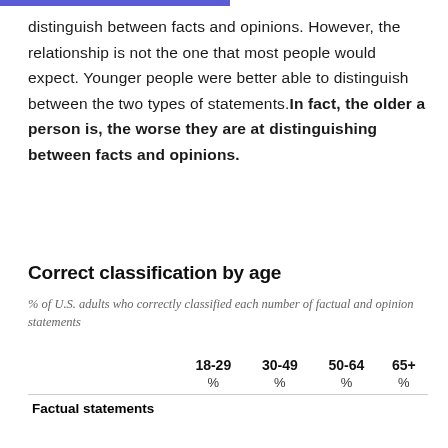distinguish between facts and opinions. However, the relationship is not the one that most people would expect. Younger people were better able to distinguish between the two types of statements. In fact, the older a person is, the worse they are at distinguishing between facts and opinions.
Correct classification by age
% of U.S. adults who correctly classified each number of factual and opinion statements
|  | 18-29 % | 30-49 % | 50-64 % | 65+ % |
| --- | --- | --- | --- | --- |
| Factual statements |  |  |  |  |